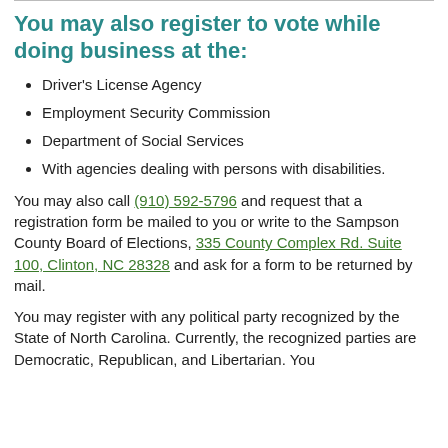You may also register to vote while doing business at the:
Driver's License Agency
Employment Security Commission
Department of Social Services
With agencies dealing with persons with disabilities.
You may also call (910) 592-5796 and request that a registration form be mailed to you or write to the Sampson County Board of Elections, 335 County Complex Rd. Suite 100, Clinton, NC 28328 and ask for a form to be returned by mail.
You may register with any political party recognized by the State of North Carolina. Currently, the recognized parties are Democratic, Republican, and Libertarian. You